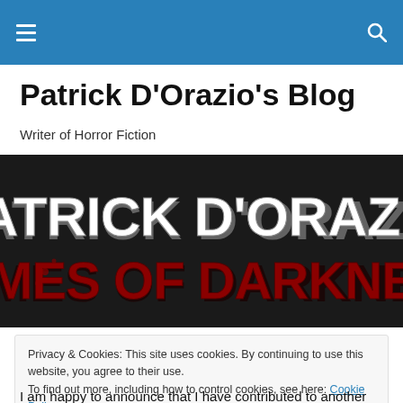Patrick D'Orazio's Blog — navigation header with menu and search icons
Patrick D'Orazio's Blog
Writer of Horror Fiction
[Figure (illustration): Banner image showing 'PATRICK D'ORAZIO' in large white letters with drop shadow, and 'TOMES OF DARKNESS' in large red horror-style letters below, on a dark background]
Privacy & Cookies: This site uses cookies. By continuing to use this website, you agree to their use.
To find out more, including how to control cookies, see here: Cookie Policy
I am happy to announce that I have contributed to another